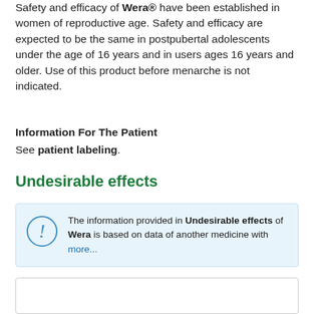Safety and efficacy of Wera® have been established in women of reproductive age. Safety and efficacy are expected to be the same in postpubertal adolescents under the age of 16 years and in users ages 16 years and older. Use of this product before menarche is not indicated.
Information For The Patient
See patient labeling.
Undesirable effects
The information provided in Undesirable effects of Wera is based on data of another medicine with more...